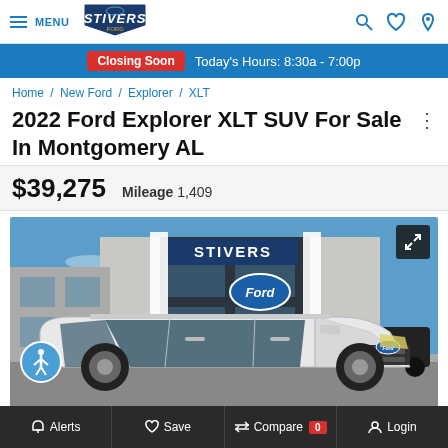MENU | STIVERS Ford
Closing Soon  Today's Hours: 8:30a - 7:00p
Home / New Ford / Explorer / XLT
2022 Ford Explorer XLT SUV For Sale In Montgomery AL
$39,275  Mileage 1,409
[Figure (photo): White 2022 Ford Explorer XLT parked in front of Stivers Ford dealership building with STIVERS signage and Ford logo visible]
Alerts  Save  Compare 0  Login